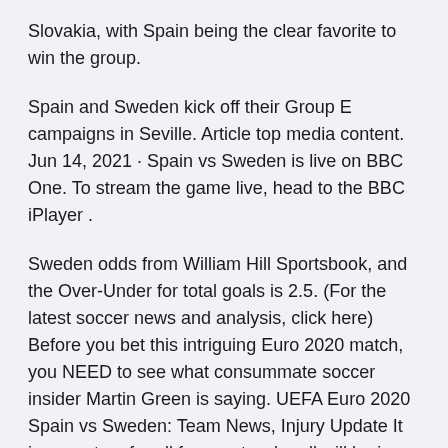Slovakia, with Spain being the clear favorite to win the group.
Spain and Sweden kick off their Group E campaigns in Seville. Article top media content. Jun 14, 2021 · Spain vs Sweden is live on BBC One. To stream the game live, head to the BBC iPlayer .
Sweden odds from William Hill Sportsbook, and the Over-Under for total goals is 2.5. (For the latest soccer news and analysis, click here) Before you bet this intriguing Euro 2020 match, you NEED to see what consummate soccer insider Martin Green is saying. UEFA Euro 2020 Spain vs Sweden: Team News, Injury Update It is a mystery for all fans as to who all will be in the playing XI for Spain, given the number of COVID-19 cases which has affected the side. 2020/2021.